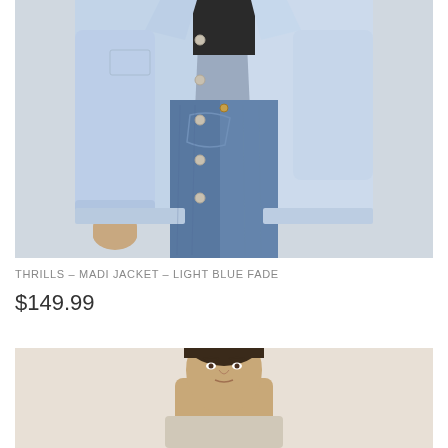[Figure (photo): Close-up photo of a model wearing a light blue fade denim jacket open over a black crop top, with blue denim jeans. Only the torso and one hand visible. Light grey background.]
THRILLS – MADI JACKET – LIGHT BLUE FADE
$149.99
[Figure (photo): Partial photo of a model wearing clothing against a cream/beige background. Only the face and upper neck/shoulders visible at the bottom edge of the page.]